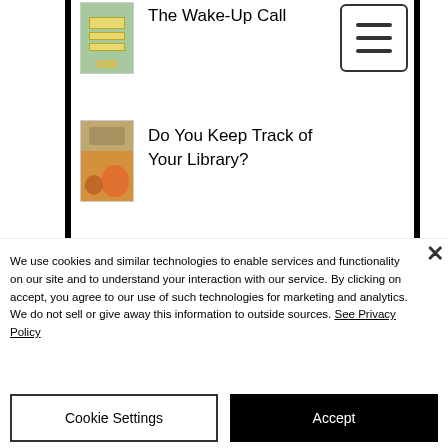The Wake-Up Call
[Figure (illustration): Small book cover thumbnail with green background and yellow label for 'The Wake-Up Call']
[Figure (screenshot): Hamburger menu icon button with three horizontal lines inside a rounded rectangle border]
Do You Keep Track of Your Library?
[Figure (illustration): Small book cover thumbnail showing a brown/orange illustrated cover with a fruit]
We use cookies and similar technologies to enable services and functionality on our site and to understand your interaction with our service. By clicking on accept, you agree to our use of such technologies for marketing and analytics. We do not sell or give away this information to outside sources. See Privacy Policy
Cookie Settings
Accept